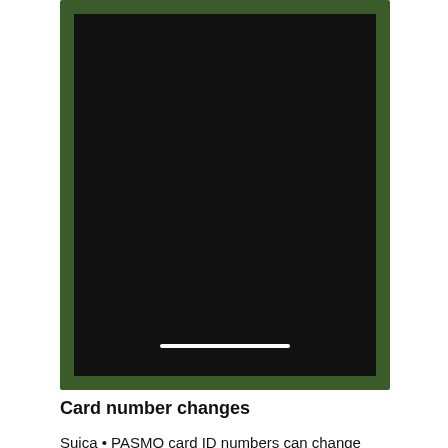[Figure (screenshot): A smartphone screen showing a dark/black display with a white horizontal bar near the bottom, framed by a dark green border representing the phone body.]
Card number changes
Suica • PASMO card ID numbers can change